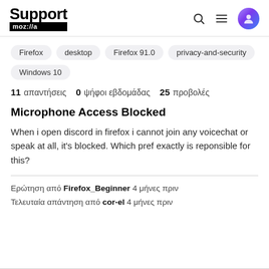Support mozilla
Firefox
desktop
Firefox 91.0
privacy-and-security
Windows 10
11 απαντήσεις  0 ψήφοι εβδομάδας  25 προβολές
Microphone Access Blocked
When i open discord in firefox i cannot join any voicechat or speak at all, it's blocked. Which pref exactly is reponsible for this?
Ερώτηση από Firefox_Beginner 4 μήνες πριν
Τελευταία απάντηση από cor-el 4 μήνες πριν